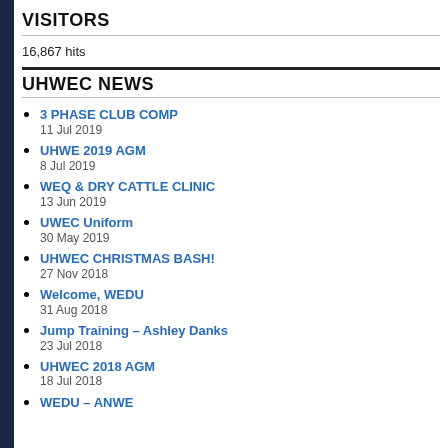VISITORS
16,867 hits
UHWEC NEWS
3 PHASE CLUB COMP
11 Jul 2019
UHWE 2019 AGM
8 Jul 2019
WEQ & DRY CATTLE CLINIC
13 Jun 2019
UWEC Uniform
30 May 2019
UHWEC CHRISTMAS BASH!
27 Nov 2018
Welcome, WEDU
31 Aug 2018
Jump Training – Ashley Danks
23 Jul 2018
UHWEC 2018 AGM
18 Jul 2018
WEDU – ANWE